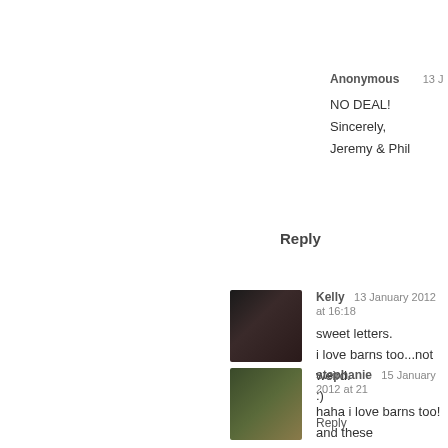Anonymous   13 J
NO DEAL!
Sincerely,
Jeremy & Phil
Reply
Kelly  13 January 2012 at 16:18
sweet letters.
i love barns too...not weird.
:)
Reply
stephanie  15 January 2012 at 21
haha i love barns too! and these
Reply